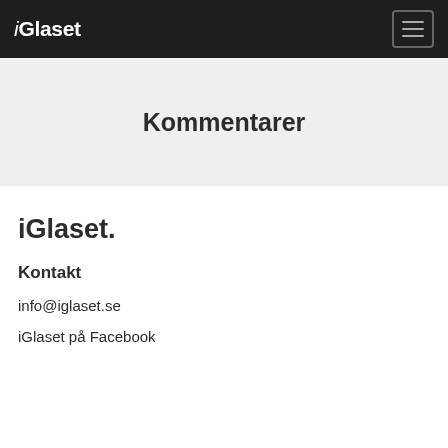iGlaset
Kommentarer
iGlaset.
Kontakt
info@iglaset.se
iGlaset på Facebook